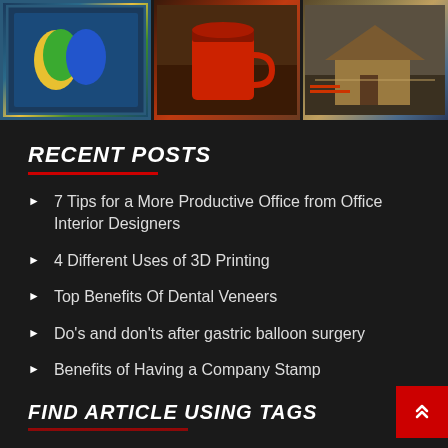[Figure (photo): Three side-by-side images: colorful parrots in a frame, a red coffee mug on a wooden table, and a small wooden house construction model with blueprints]
RECENT POSTS
7 Tips for a More Productive Office from Office Interior Designers
4 Different Uses of 3D Printing
Top Benefits Of Dental Veneers
Do's and don'ts after gastric balloon surgery
Benefits of Having a Company Stamp
FIND ARTICLE USING TAGS